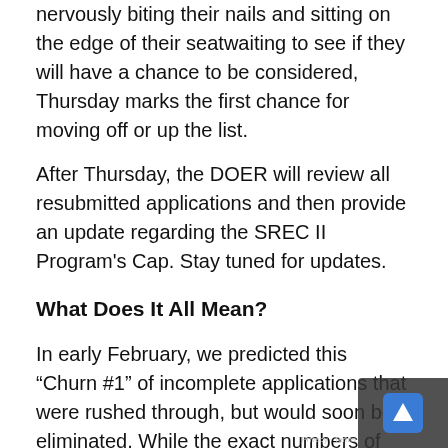nervously biting their nails and sitting on the edge of their seat waiting to see if they will have a chance to be considered, Thursday marks the first chance for moving off or up the list.
After Thursday, the DOER will review all resubmitted applications and then provide an update regarding the SREC II Program's Cap. Stay tuned for updates.
What Does It All Mean?
In early February, we predicted this “Churn #1” of incomplete applications that were rushed through, but would soon be eliminated. While the exact numbers of this churn will come in after this Thursday, we e the number of rejected applications to bring the program from drastically “oversubscribed” to ne...